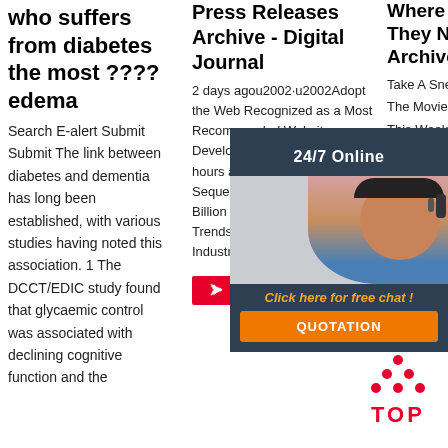who suffers from diabetes the most ????edema
Search E-alert Submit Submit The link between diabetes and dementia has long been established, with various studies having noted this association. 1 The DCCT/EDIC study found that glycaemic control was associated with declining cognitive function and the
Press Releases Archive - Digital Journal
2 days agou2002·u2002Adopt the Web Recognized as a Most Recommended Website Development Company - 16 hours ago NGS-Based RNA-Sequencing Market Worth $4.2 Billion by 2024 – Emerging Trends, Innovations, Key Industry ...
Where Are They Now? Archives
Take A Sneak Peak At The Movies Coming This Week Reactions Out Now New Movies This Week December
[Figure (photo): Customer service representative woman with headset smiling, with 24/7 Online chat widget overlay showing 'Click here for free chat!' and QUOTATION button]
[Figure (other): TOP button with orange/red dots above and TOP text in red]